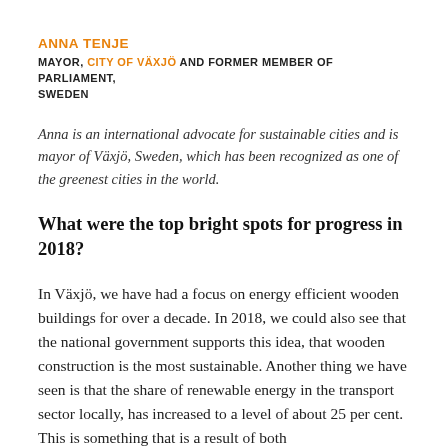ANNA TENJE
MAYOR, CITY OF VÄXJÖ AND FORMER MEMBER OF PARLIAMENT, SWEDEN
Anna is an international advocate for sustainable cities and is mayor of Växjö, Sweden, which has been recognized as one of the greenest cities in the world.
What were the top bright spots for progress in 2018?
In Växjö, we have had a focus on energy efficient wooden buildings for over a decade. In 2018, we could also see that the national government supports this idea, that wooden construction is the most sustainable. Another thing we have seen is that the share of renewable energy in the transport sector locally, has increased to a level of about 25 per cent. This is something that is a result of both